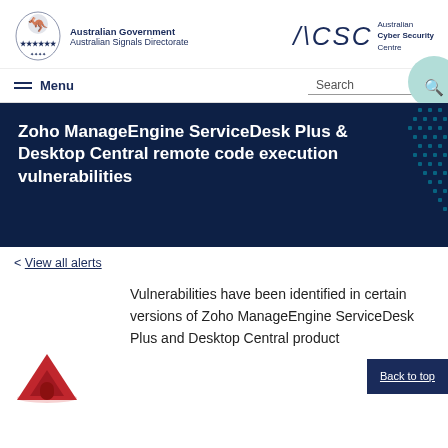Australian Government Australian Signals Directorate | ACSC Australian Cyber Security Centre
Menu | Search
Zoho ManageEngine ServiceDesk Plus & Desktop Central remote code execution vulnerabilities
< View all alerts
Vulnerabilities have been identified in certain versions of Zoho ManageEngine ServiceDesk Plus and Desktop Central product